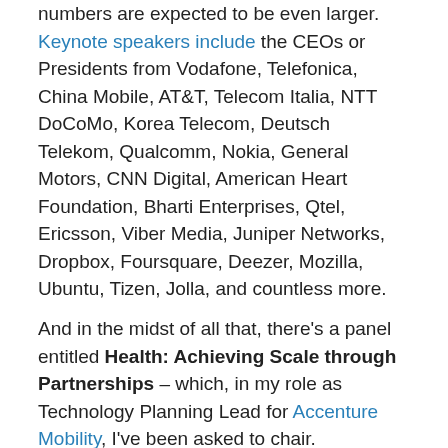numbers are expected to be even larger. Keynote speakers include the CEOs or Presidents from Vodafone, Telefonica, China Mobile, AT&T, Telecom Italia, NTT DoCoMo, Korea Telecom, Deutsch Telekom, Qualcomm, Nokia, General Motors, CNN Digital, American Heart Foundation, Bharti Enterprises, Qtel, Ericsson, Viber Media, Juniper Networks, Dropbox, Foursquare, Deezer, Mozilla, Ubuntu, Tizen, Jolla, and countless more.
And in the midst of all that, there's a panel entitled Health: Achieving Scale through Partnerships – which, in my role as Technology Planning Lead for Accenture Mobility, I've been asked to chair.
MWC as a whole generates a lot of excitement about mobile technology – and about relative shifts in the competitive positions of key companies in the industry. How exciting it is to see that the main technology discussion...